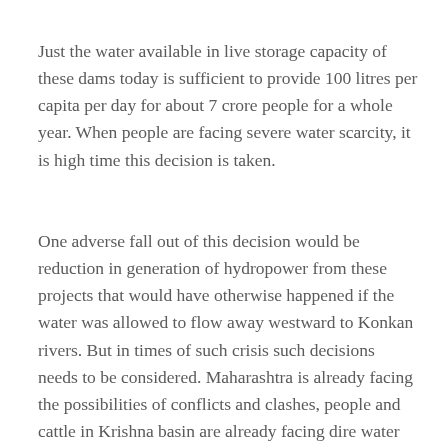Just the water available in live storage capacity of these dams today is sufficient to provide 100 litres per capita per day for about 7 crore people for a whole year. When people are facing severe water scarcity, it is high time this decision is taken.
One adverse fall out of this decision would be reduction in generation of hydropower from these projects that would have otherwise happened if the water was allowed to flow away westward to Konkan rivers. But in times of such crisis such decisions needs to be considered. Maharashtra is already facing the possibilities of conflicts and clashes, people and cattle in Krishna basin are already facing dire water scarcity. Care may have to be